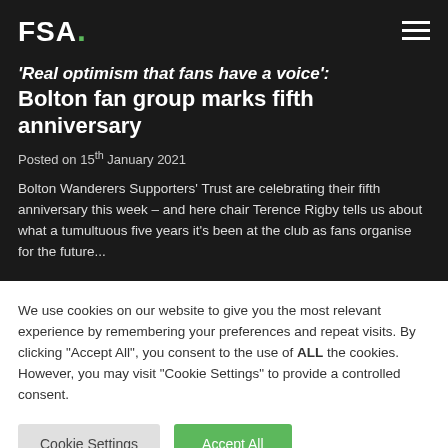FSA.
'Real optimism that fans have a voice': Bolton fan group marks fifth anniversary
Posted on 15th January 2021
Bolton Wanderers Supporters' Trust are celebrating their fifth anniversary this week – and here chair Terence Rigby tells us about what a tumultuous five years it's been at the club as fans organise for the future...
We use cookies on our website to give you the most relevant experience by remembering your preferences and repeat visits. By clicking "Accept All", you consent to the use of ALL the cookies. However, you may visit "Cookie Settings" to provide a controlled consent.